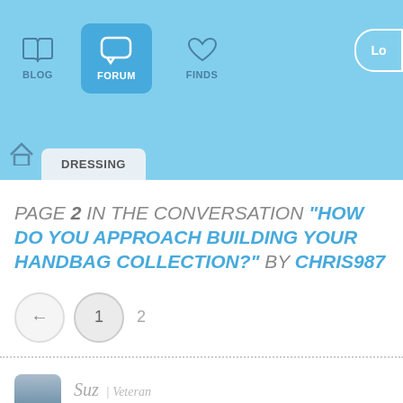BLOG | FORUM | FINDS | Lo
DRESSING
PAGE 2 IN THE CONVERSATION "HOW DO YOU APPROACH BUILDING YOUR HANDBAG COLLECTION?" BY CHRIS987
← 1 2
Suz | Veteran